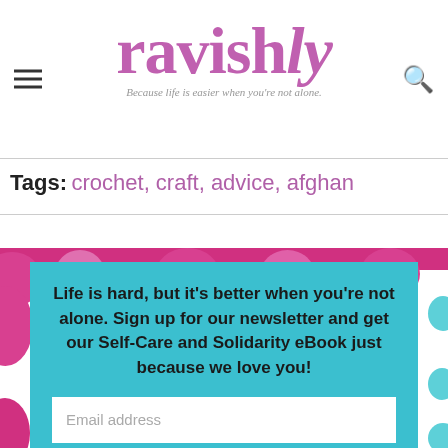ravishly — Because life is easier when you're not alone.
Tags: crochet, craft, advice, afghan
Life is hard, but it's better when you're not alone. Sign up for our newsletter and get our Self-Care and Solidarity eBook just because we love you!
Email address
SUBSCRIBE